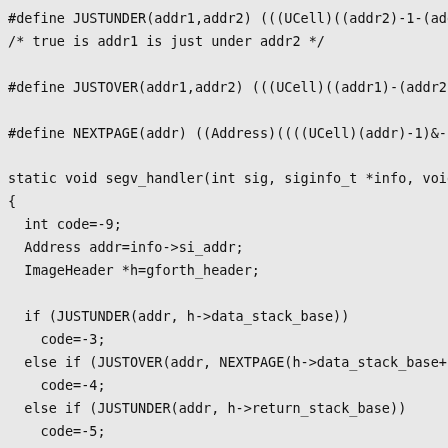#define JUSTUNDER(addr1,addr2) (((UCell)((addr2)-1-(addr1
/* true is addr1 is just under addr2 */

#define JUSTOVER(addr1,addr2) (((UCell)((addr1)-(addr2)))

#define NEXTPAGE(addr) ((Address)((((UCell)(addr)-1)&-pag

static void segv_handler(int sig, siginfo_t *info, void 
{
  int code=-9;
  Address addr=info->si_addr;
  ImageHeader *h=gforth_header;

  if (JUSTUNDER(addr, h->data_stack_base))
    code=-3;
  else if (JUSTOVER(addr, NEXTPAGE(h->data_stack_base+h->
    code=-4;
  else if (JUSTUNDER(addr, h->return_stack_base))
    code=-5;
  else if (JUSTOVER(addr, NEXTPAGE(h->return_stack_base+h
    code=-6;
  else if (JUSTUNDER(addr, h->fp_stack_base))
    code=-44;
  else if (JUSTOVER(addr, NEXTPAGE(h->fp_stack_base+h->fp
    code=-45;
  longjmp(throw_jmp_buf,code);
}

#endif /* defined(SA_SIGINFO) */